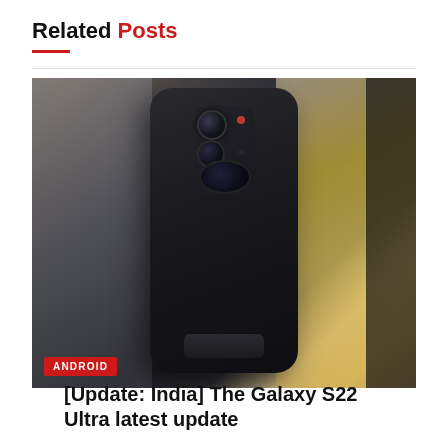Related Posts
[Figure (photo): Back view of Samsung Galaxy S22 Ultra smartphone in phantom black, showing the camera module with multiple lenses, displayed on a stand at what appears to be a product event. Background shows blurred elements including yellow drinks and a dark figure.]
ANDROID
[Update: India] The Galaxy S22 Ultra latest update